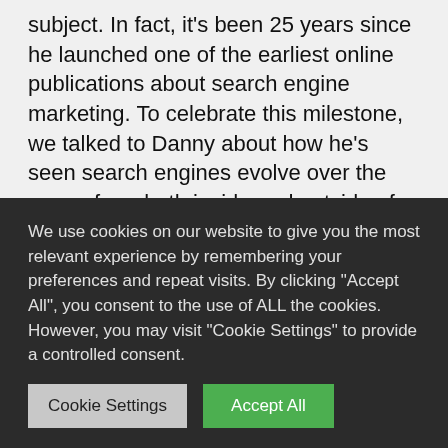subject. In fact, it's been 25 years since he launched one of the earliest online publications about search engine marketing. To celebrate this milestone, we talked to Danny about how he's seen search engines evolve over the years, from both inside and outside of Google.
How did you get interested in search technology?
When I was in college, my idea of fun was to use our library search system, “Melvil” to see all the books that
We use cookies on our website to give you the most relevant experience by remembering your preferences and repeat visits. By clicking “Accept All”, you consent to the use of ALL the cookies. However, you may visit “Cookie Settings” to provide a controlled consent.